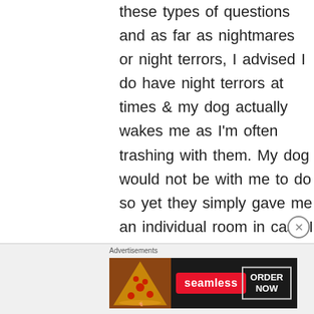these types of questions and as far as nightmares or night terrors, I advised I do have night terrors at times & my dog actually wakes me as I'm often trashing with them. My dog would not be with me to do so yet they simply gave me an individual room in case I do have night terrors so that I didn't scare
[Figure (other): Seamless food delivery advertisement banner showing pizza image on left, Seamless logo in red center, and ORDER NOW button on right]